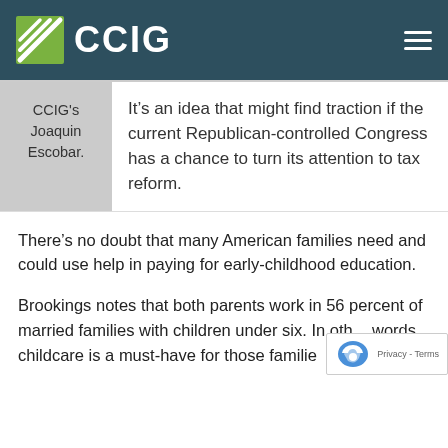CCIG
CCIG's Joaquin Escobar.
It’s an idea that might find traction if the current Republican-controlled Congress has a chance to turn its attention to tax reform.
There’s no doubt that many American families need and could use help in paying for early-childhood education.
Brookings notes that both parents work in 56 percent of married families with children under six. In other words, childcare is a must-have for those families